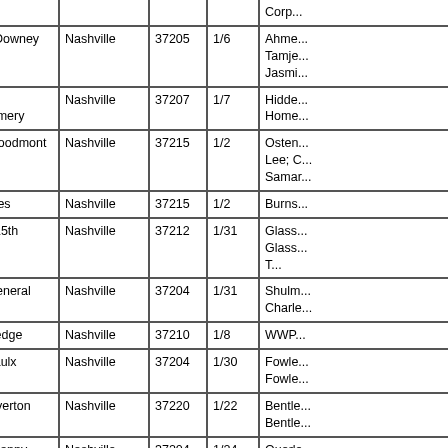| Address | City | ZIP | Date | Name/Info |
| --- | --- | --- | --- | --- |
|  |  |  |  | Corp... |
| 1018A Downey | Nashville | 37205 | 1/6 | Ahme... Tamje... Jasmi... |
| 1308 Montgomery | Nashville | 37207 | 1/7 | Hidde... Home... |
| 1408 Woodmont | Nashville | 37215 | 1/2 | Osten... Lee; C... Samar... |
| 613 Estes | Nashville | 37215 | 1/2 | Burns... |
| 1719A 15th | Nashville | 37212 | 1/31 | Glass... Glass... T... |
| 3635 General Bate | Nashville | 37204 | 1/31 | Shulm... Charle... |
| 20 Rutledge | Nashville | 37210 | 1/8 | WWP... |
| 2812 Vaulx | Nashville | 37204 | 1/30 | Fowle... Fowle... |
| 1131 Overton Lea | Nashville | 37220 | 1/22 | Bentle... Bentle... |
| 4501 Granny White | Nashville | 37204 | 1/24 | Quarle... L... |
| 602 Cheron | Madison | 37115 | 1/17 | Briarv... Aparti... |
| 402 Hyde | Nashville | 37215 | 1/16 | Reese... Reese... |
| 1004 Acklen | Nashville | 37203 | 1/8 | Capeli... J; Cap... Tanya... |
| 605 27th | Nashville | 37209 | 1/6 | Kuma... |